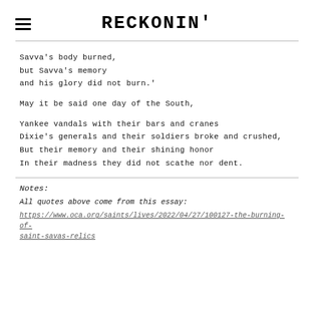RECKONIN'
Savva's body burned,
but Savva's memory
and his glory did not burn.'
May it be said one day of the South,
Yankee vandals with their bars and cranes
Dixie's generals and their soldiers broke and crushed,
But their memory and their shining honor
In their madness they did not scathe nor dent.
Notes:
All quotes above come from this essay:
https://www.oca.org/saints/lives/2022/04/27/100127-the-burning-of-saint-savas-relics